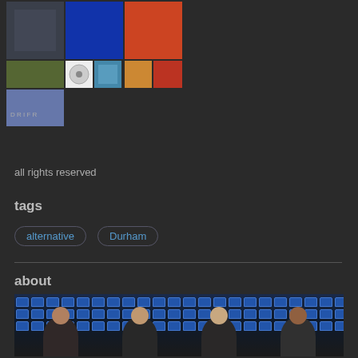[Figure (photo): Grid of album cover thumbnails arranged in a collage]
all rights reserved
tags
alternative
Durham
about
[Figure (photo): Four men sitting in a movie theater with blue seats, holding popcorn boxes]